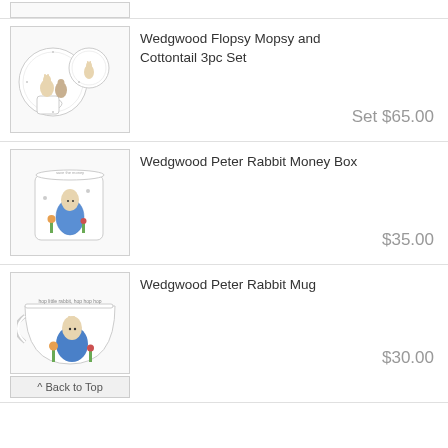[Figure (photo): Partial view of a Wedgwood dinnerware set from previous listing (top of page, cropped)]
Wedgwood Flopsy Mopsy and Cottontail 3pc Set
Set $65.00
[Figure (photo): Wedgwood Peter Rabbit Money Box - a white cylindrical ceramic money bank with Peter Rabbit illustration]
Wedgwood Peter Rabbit Money Box
$35.00
[Figure (photo): Wedgwood Peter Rabbit Mug - a white ceramic mug with Peter Rabbit illustration and text around the rim]
Wedgwood Peter Rabbit Mug
$30.00
^ Back to Top